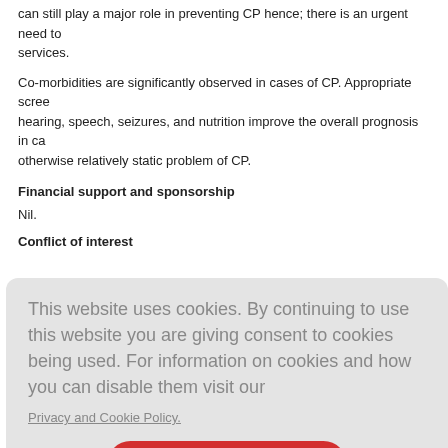can still play a major role in preventing CP hence; there is an urgent need to services.
Co-morbidities are significantly observed in cases of CP. Appropriate screen hearing, speech, seizures, and nutrition improve the overall prognosis in ca otherwise relatively static problem of CP.
Financial support and sponsorship
Nil.
Conflict of interest
[Figure (screenshot): Cookie consent overlay with message 'This website uses cookies. By continuing to use this website you are giving consent to cookies being used. For information on cookies and how you can disable them visit our Privacy and Cookie Policy.' and an AGREE & PROCEED button.]
functioning
erebral pa CPE). Dev
AINDS Workshop on Classification and Definition of Disorders Causi